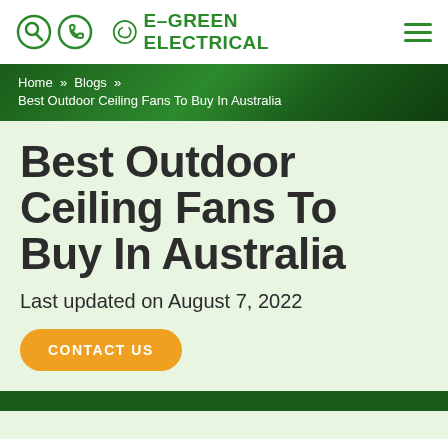E-GREEN ELECTRICAL
Home » Blogs » Best Outdoor Ceiling Fans To Buy In Australia
Best Outdoor Ceiling Fans To Buy In Australia
Last updated on August 7, 2022
CONTACT US